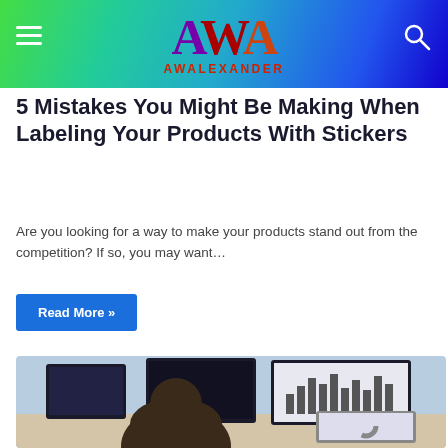AWALEXANDER
5 Mistakes You Might Be Making When Labeling Your Products With Stickers
Are you looking for a way to make your products stand out from the competition? If so, you may want…
Read More »
[Figure (photo): Person seen from behind sitting at a multi-monitor workstation with charts and graphs on screens and a laptop with a donut chart]